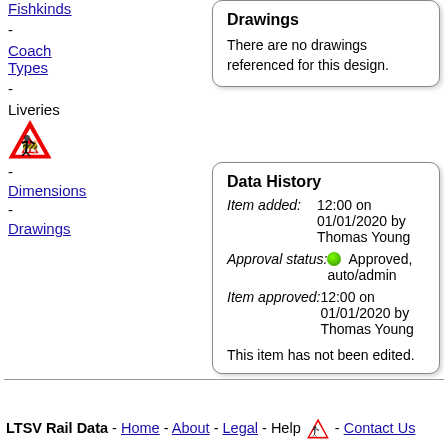Fishkinds
-
Coach Types
-
Liveries [warning icon]
-
Dimensions
-
Drawings
Drawings
There are no drawings referenced for this design.
Data History
Item added: 12:00 on 01/01/2020 by Thomas Young
Approval status: Approved, auto/admin
Item approved: 12:00 on 01/01/2020 by Thomas Young
This item has not been edited.
LTSV Rail Data - Home - About - Legal - Help [icon] - Contact Us